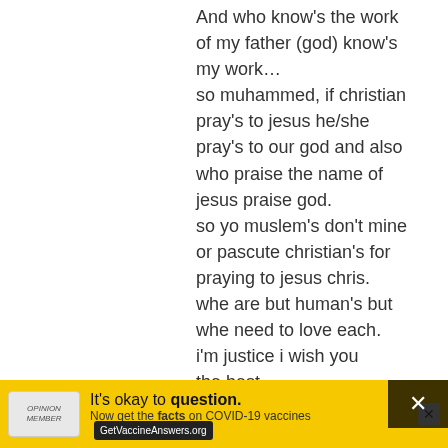And who know's the work of my father (god) know's my work… so muhammed, if christian pray's to jesus he/she pray's to our god and also who praise the name of jesus praise god. so yo muslem's don't mine or pascute christian's for praying to jesus chris. whe are but human's but whe need to love each. i'm justice i wish you the best
Reply
Tsai
February 23, 2022
Dear brothers, When I was young, I have studied many religions, includes Jesus. I didn't care about miracles and events as it is just history. Then I had the time that i most needed help, someone told me to accept Jesus to help me. It was like a miracle when i accepted Him. Now i would say that it is not important to compare his miracles to a history al
[Figure (infographic): Yellow advertisement banner for COVID-19 vaccine information. Text reads: It's okay to question. Now get the facts on COVID-19 vaccines. GetVaccineAnswers.org. Has a close button X on the right side.]